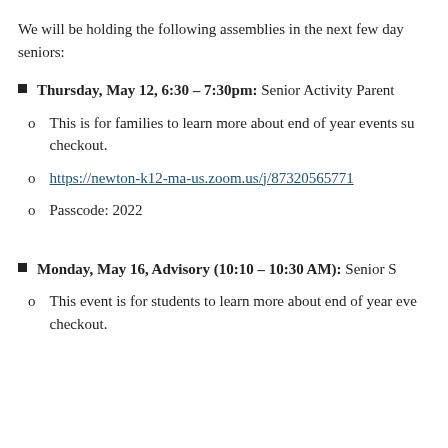We will be holding the following assemblies in the next few days for seniors:
Thursday, May 12, 6:30 – 7:30pm: Senior Activity Parent
This is for families to learn more about end of year events such as checkout.
https://newton-k12-ma-us.zoom.us/j/87320565771
Passcode: 2022
Monday, May 16, Advisory (10:10 – 10:30 AM): Senior S
This event is for students to learn more about end of year events and checkout.